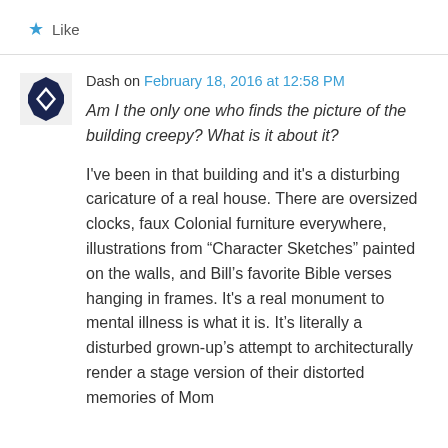★ Like
Dash on February 18, 2016 at 12:58 PM
Am I the only one who finds the picture of the building creepy? What is it about it?
I've been in that building and it's a disturbing caricature of a real house. There are oversized clocks, faux Colonial furniture everywhere, illustrations from “Character Sketches” painted on the walls, and Bill’s favorite Bible verses hanging in frames. It's a real monument to mental illness is what it is. It’s literally a disturbed grown-up’s attempt to architecturally render a stage version of their distorted memories of Mom & Dad...